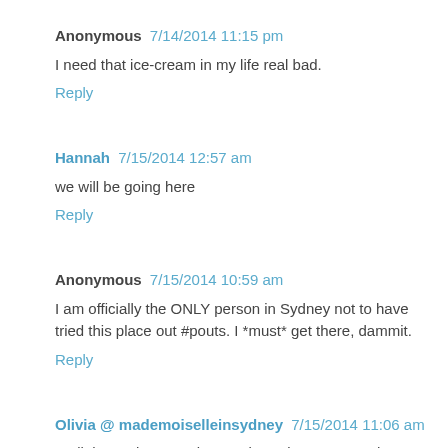Anonymous 7/14/2014 11:15 pm
I need that ice-cream in my life real bad.
Reply
Hannah 7/15/2014 12:57 am
we will be going here
Reply
Anonymous 7/15/2014 10:59 am
I am officially the ONLY person in Sydney not to have tried this place out #pouts. I *must* get there, dammit.
Reply
Olivia @ mademoiselleinsydney 7/15/2014 11:06 am
Well that’s about as close as it’s going to get… That’s described as…